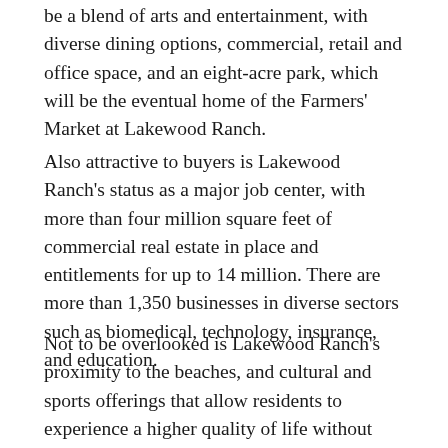be a blend of arts and entertainment, with diverse dining options, commercial, retail and office space, and an eight-acre park, which will be the eventual home of the Farmers' Market at Lakewood Ranch.
Also attractive to buyers is Lakewood Ranch's status as a major job center, with more than four million square feet of commercial real estate in place and entitlements for up to 14 million. There are more than 1,350 businesses in diverse sectors such as biomedical, technology, insurance, and education.
Not to be overlooked is Lakewood Ranch's proximity to the beaches, and cultural and sports offerings that allow residents to experience a higher quality of life without sacrificing big-city conveniences.